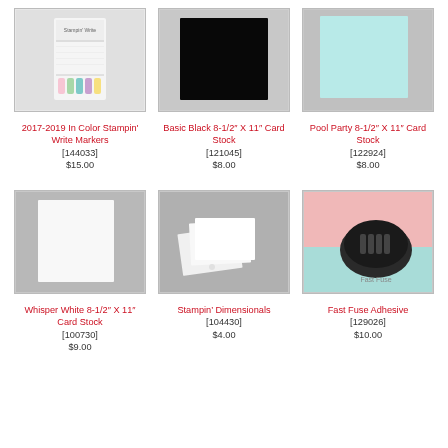[Figure (photo): 2017-2019 In Color Stampin Write Markers product photo]
[Figure (photo): Basic Black 8-1/2 X 11 Card Stock product photo - black rectangle]
[Figure (photo): Pool Party 8-1/2 X 11 Card Stock product photo - light blue/mint card]
2017-2019 In Color Stampin’ Write Markers [144033] $15.00
Basic Black 8-1/2″ X 11″ Card Stock [121045] $8.00
Pool Party 8-1/2″ X 11″ Card Stock [122924] $8.00
[Figure (photo): Whisper White 8-1/2 X 11 Card Stock product photo - white card on gray]
[Figure (photo): Stampin Dimensionals product photo - small foam adhesive dots]
[Figure (photo): Fast Fuse Adhesive product photo - black adhesive tool on pink/mint background]
Whisper White 8-1/2″ X 11″ Card Stock [100730] $9.00
Stampin’ Dimensionals [104430] $4.00
Fast Fuse Adhesive [129026] $10.00